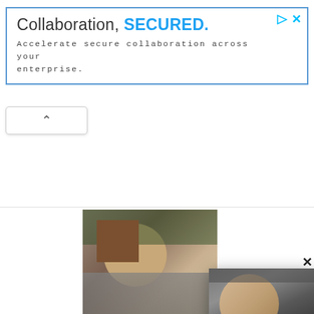[Figure (screenshot): Advertisement banner with blue border. Text reads 'Collaboration, SECURED.' with 'SECURED.' in blue bold. Subtitle: 'Accelerate secure collaboration across your enterprise.' in monospace. Has ad icon (play triangle) and close X in top right.]
[Figure (screenshot): Collapse/minimize button with upward chevron arrow, rounded rectangle button below the ad banner.]
[Figure (photo): Thumbnail photo of a woman with dark hair, appears to be a news article image on the left side.]
Everyone Wh God Should Will Blow Yo
695,235
[Figure (photo): Popup overlay showing an elderly man with long gray hair and white beard, looking at the camera. Background shows camera equipment.]
A Tragic End Today For Willie Nelson